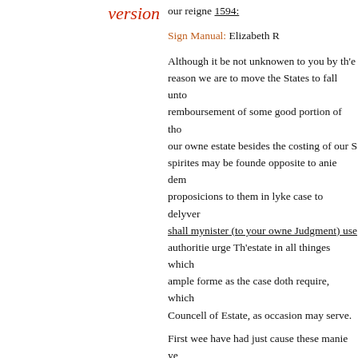version
our reigne 1594:
Sign Manual: Elizabeth R
Although it be not unknowen to you by th'e reason we are to move the States to fall unto remboursement of some good portion of tho our owne estate besides the costing of our S spirites may be founde opposite to anie dem proposicions to them in lyke case to delyver shall mynister (to your owne Judgment) use authoritie urge Th'estate in all thinges which ample forme as the case doth require, which Councell of Estate, as occasion may serve.
First wee have had just cause these manie ye great sommes [[by]] us expended towardes t their forgetfulnes thereof as an argument of Crowne and Realme, whereof no example c